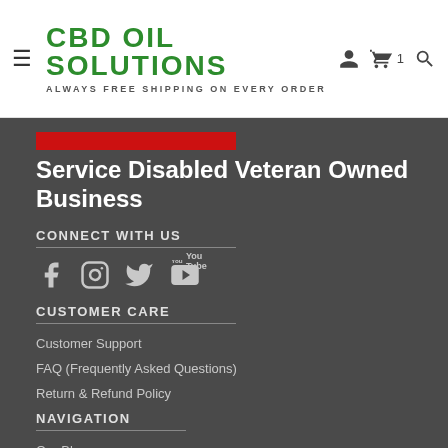CBD OIL SOLUTIONS — ALWAYS FREE SHIPPING ON EVERY ORDER
[Figure (other): Red accent bar / banner image]
Service Disabled Veteran Owned Business
CONNECT WITH US
[Figure (other): Social media icons: Facebook, Instagram, Twitter, YouTube]
CUSTOMER CARE
Customer Support
FAQ (Frequently Asked Questions)
Return & Refund Policy
NAVIGATION
Our Blog